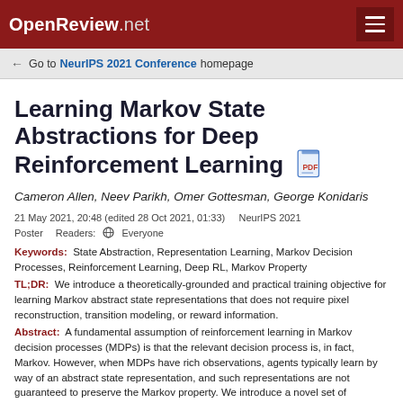OpenReview.net
← Go to NeurIPS 2021 Conference homepage
Learning Markov State Abstractions for Deep Reinforcement Learning
Cameron Allen, Neev Parikh, Omer Gottesman, George Konidaris
21 May 2021, 20:48 (edited 28 Oct 2021, 01:33)   NeurIPS 2021  Poster    Readers:  Everyone
Keywords:  State Abstraction, Representation Learning, Markov Decision Processes, Reinforcement Learning, Deep RL, Markov Property
TL;DR:  We introduce a theoretically-grounded and practical training objective for learning Markov abstract state representations that does not require pixel reconstruction, transition modeling, or reward information.
Abstract:  A fundamental assumption of reinforcement learning in Markov decision processes (MDPs) is that the relevant decision process is, in fact, Markov. However, when MDPs have rich observations, agents typically learn by way of an abstract state representation, and such representations are not guaranteed to preserve the Markov property. We introduce a novel set of